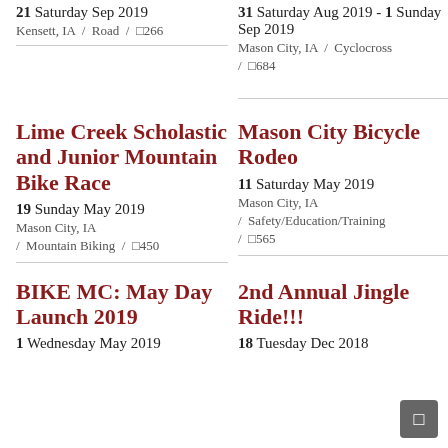21 Saturday Sep 2019
Kensett, IA / Road / □266
31 Saturday Aug 2019 - 1 Sunday Sep 2019
Mason City, IA / Cyclocross / □684
Lime Creek Scholastic and Junior Mountain Bike Race
19 Sunday May 2019
Mason City, IA
/ Mountain Biking / □450
Mason City Bicycle Rodeo
11 Saturday May 2019
Mason City, IA
/ Safety/Education/Training / □565
BIKE MC: May Day Launch 2019
2nd Annual Jingle Ride!!!
1 Wednesday May 2019
18 Tuesday Dec 2018